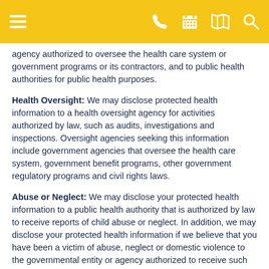[Navigation bar with menu, phone, calendar, map, and search icons]
agency authorized to oversee the health care system or government programs or its contractors, and to public health authorities for public health purposes.
Health Oversight: We may disclose protected health information to a health oversight agency for activities authorized by law, such as audits, investigations and inspections. Oversight agencies seeking this information include government agencies that oversee the health care system, government benefit programs, other government regulatory programs and civil rights laws.
Abuse or Neglect: We may disclose your protected health information to a public health authority that is authorized by law to receive reports of child abuse or neglect. In addition, we may disclose your protected health information if we believe that you have been a victim of abuse, neglect or domestic violence to the governmental entity or agency authorized to receive such information. In this case, the disclosure will be made consistent with the requirements of applicable federal and state laws.
Food and Drug Administration: We may disclose your protected